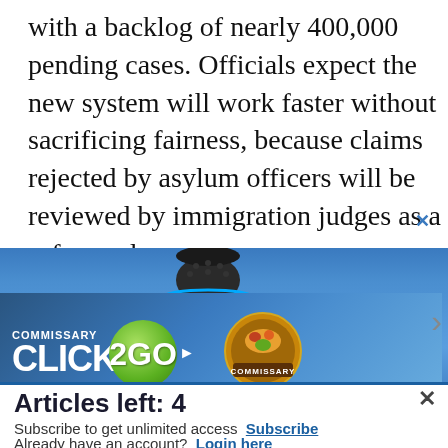with a backlog of nearly 400,000 pending cases. Officials expect the new system will work faster without sacrificing fairness, because claims rejected by asylum officers will be reviewed by immigration judges as a safeguard.
[Figure (screenshot): Commissary Click2Go advertisement banner with Echo device visible at top, teal/blue gradient background, green Click2Go logo bubble, Commissary circular logo, and partially visible text 'order groceries | PICK UP']
Articles left: 4
Subscribe to get unlimited access  Subscribe
Already have an account?  Login here